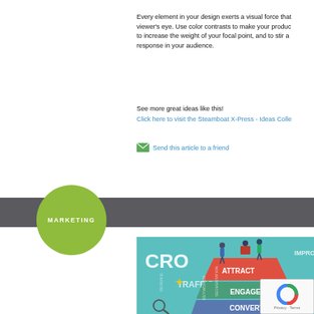Every element in your design exerts a visual force that viewer's eye. Use color contrasts to make your produc to increase the weight of your focal point, and to stir a response in your audience.
See more great ideas like this!
Click here to visit the Steamboat X-Press - Ideas Colle
Send this article to a friend
MARKETING   Marketing Tip
[Figure (infographic): CRO marketing funnel infographic showing ATTRACT, ENGAGE, CONVERT layers with illustrated people standing on a funnel, and keywords like TRAFFIC, REVENUE, KEYWORDS, SEGMENTATION around it. Partially cropped on right side.]